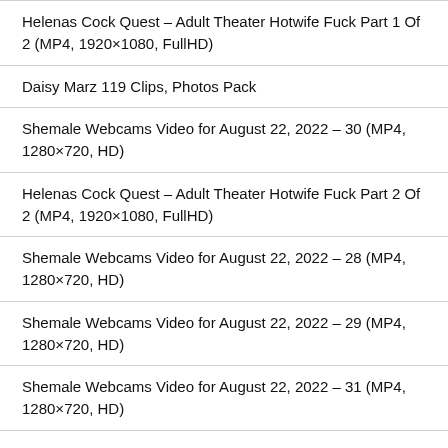Helenas Cock Quest – Adult Theater Hotwife Fuck Part 1 Of 2 (MP4, 1920×1080, FullHD)
Daisy Marz 119 Clips, Photos Pack
Shemale Webcams Video for August 22, 2022 – 30 (MP4, 1280×720, HD)
Helenas Cock Quest – Adult Theater Hotwife Fuck Part 2 Of 2 (MP4, 1920×1080, FullHD)
Shemale Webcams Video for August 22, 2022 – 28 (MP4, 1280×720, HD)
Shemale Webcams Video for August 22, 2022 – 29 (MP4, 1280×720, HD)
Shemale Webcams Video for August 22, 2022 – 31 (MP4, 1280×720, HD)